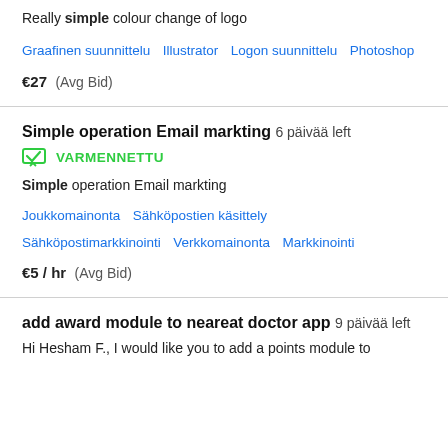Really simple colour change of logo
Graafinen suunnittelu   Illustrator   Logon suunnittelu   Photoshop
€27  (Avg Bid)
Simple operation Email markting  6 päivää left
VARMENNETTU
Simple operation Email markting
Joukkomainonta   Sähköpostien käsittely   Sähköpostimarkkinointi   Verkkomainonta   Markkinointi
€5 / hr  (Avg Bid)
add award module to neareat doctor app  9 päivää left
Hi Hesham F., I would like you to add a points module to